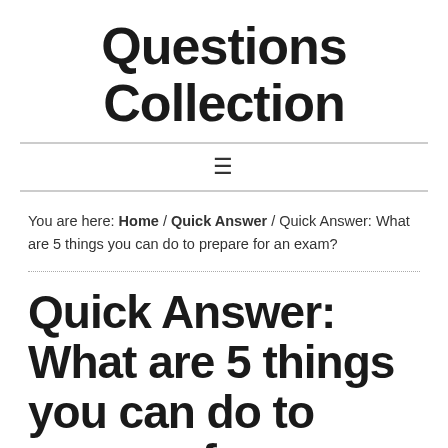Questions Collection
You are here: Home / Quick Answer / Quick Answer: What are 5 things you can do to prepare for an exam?
Quick Answer: What are 5 things you can do to prepare for an exam?